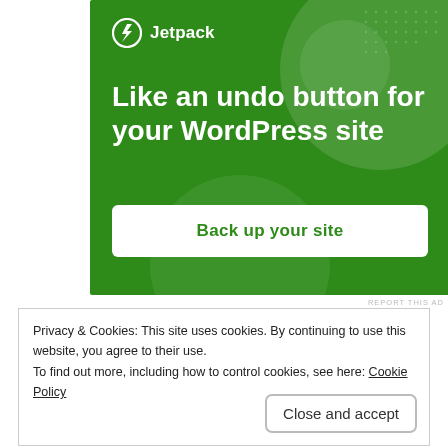[Figure (screenshot): Jetpack advertisement banner with green background. Shows Jetpack logo (lightning bolt icon) at top left, large decorative circles in background, headline text 'Like an undo button for your WordPress site', and a white 'Back up your site' button.]
REPORT THIS AD
Related
Privacy & Cookies: This site uses cookies. By continuing to use this website, you agree to their use.
To find out more, including how to control cookies, see here: Cookie Policy
Close and accept
WordPress.com